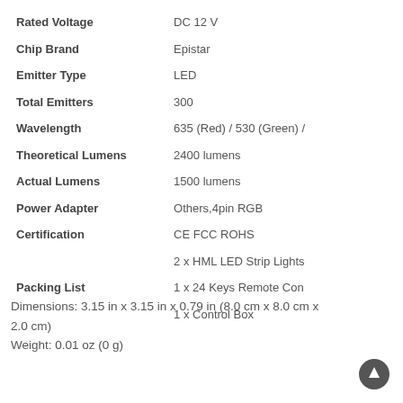| Specification | Value |
| --- | --- |
| Rated Voltage | DC 12 V |
| Chip Brand | Epistar |
| Emitter Type | LED |
| Total Emitters | 300 |
| Wavelength | 635 (Red) / 530 (Green) /... |
| Theoretical Lumens | 2400 lumens |
| Actual Lumens | 1500 lumens |
| Power Adapter | Others,4pin RGB |
| Certification | CE FCC ROHS |
|  | 2 x HML LED Strip Lights... |
| Packing List | 1 x 24 Keys Remote Con... |
|  | 1 x Control Box |
Dimensions: 3.15 in x 3.15 in x 0.79 in (8.0 cm x 8.0 cm x 2.0 cm)
Weight: 0.01 oz (0 g)